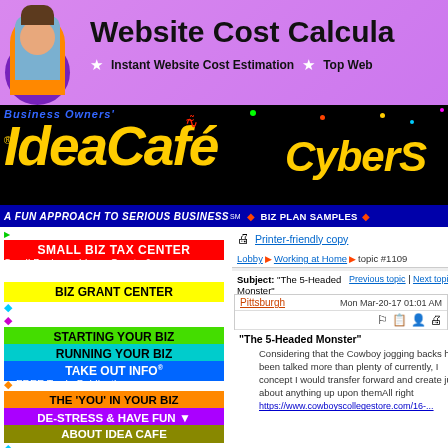[Figure (screenshot): Website Cost Calculator banner with purple background, man in blue shirt, bold title text and star bullet points]
[Figure (logo): Business Owners' IdeaCafe logo in yellow italic text on black background with CyberS... text to the right]
A FUN APPROACH TO SERIOUS BUSINESS℠  ◆ BIZ PLAN SAMPLES ◆
SMALL BIZ TAX CENTER
Small Business Ideas, Grants & Plans to Start & Run a Business:
BIZ GRANT CENTER
People in Biz - Profiles
Coffee Talk with Experts
STARTING YOUR BIZ
RUNNING YOUR BIZ
TAKE OUT INFO®
FREE Trade Publications
THE 'YOU' IN YOUR BIZ
DE-STRESS & HAVE FUN
ABOUT IDEA CAFE
Idea Cafe in the News
Printer-friendly copy
Lobby ▶ Working at Home ▶ topic #1109
Subject: "The 5-Headed Monster"
Previous topic | Next topic
Pittsburgh  Mon Mar-20-17 01:01 AM
"The 5-Headed Monster"
Considering that the Cowboy jogging backs haven been talked more than plenty of currently, I concept I would transfer forward and create just about anything up upon themAll right https://www.cowboyscollegestore.com/16-...